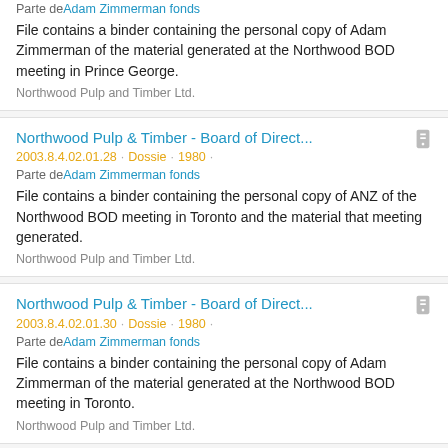Parte de Adam Zimmerman fonds
File contains a binder containing the personal copy of Adam Zimmerman of the material generated at the Northwood BOD meeting in Prince George.
Northwood Pulp and Timber Ltd.
Northwood Pulp & Timber - Board of Direct...
2003.8.4.02.01.28 · Dossie · 1980 ·
Parte de Adam Zimmerman fonds
File contains a binder containing the personal copy of ANZ of the Northwood BOD meeting in Toronto and the material that meeting generated.
Northwood Pulp and Timber Ltd.
Northwood Pulp & Timber - Board of Direct...
2003.8.4.02.01.30 · Dossie · 1980 ·
Parte de Adam Zimmerman fonds
File contains a binder containing the personal copy of Adam Zimmerman of the material generated at the Northwood BOD meeting in Toronto.
Northwood Pulp and Timber Ltd.
Northwood Pulp & Timber - Board of Direct...